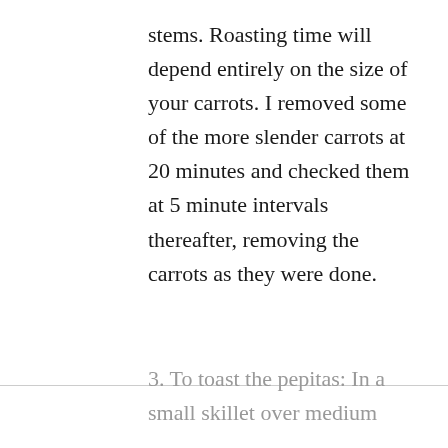stems. Roasting time will depend entirely on the size of your carrots. I removed some of the more slender carrots at 20 minutes and checked them at 5 minute intervals thereafter, removing the carrots as they were done.
3. To toast the pepitas: In a small skillet over medium